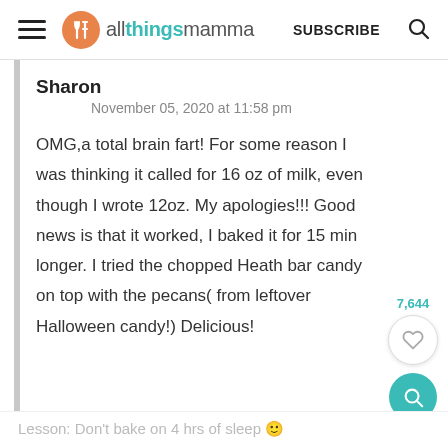allthingsmamma | SUBSCRIBE
Sharon
November 05, 2020 at 11:58 pm
OMG,a total brain fart! For some reason I was thinking it called for 16 oz of milk, even though I wrote 12oz. My apologies!!! Good news is that it worked, I baked it for 15 min longer. I tried the chopped Heath bar candy on top with the pecans( from leftover Halloween candy!) Delicious!
Lesson: Don't bake on 4 hrs of sleep 🙂